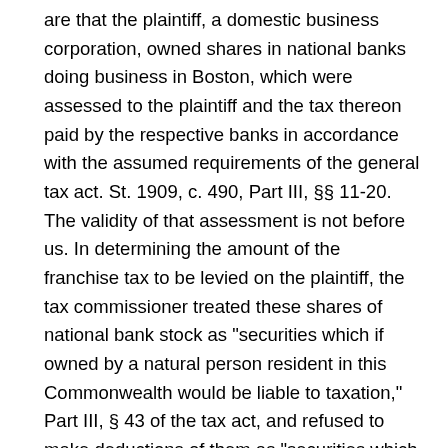are that the plaintiff, a domestic business corporation, owned shares in national banks doing business in Boston, which were assessed to the plaintiff and the tax thereon paid by the respective banks in accordance with the assumed requirements of the general tax act. St. 1909, c. 490, Part III, §§ 11-20. The validity of that assessment is not before us. In determining the amount of the franchise tax to be levied on the plaintiff, the tax commissioner treated these shares of national bank stock as "securities which if owned by a natural person resident in this Commonwealth would be liable to taxation," Part III, § 43 of the tax act, and refused to make deductions of them as "securities which if owned by a natural person resident in this Commonwealth would not be liable to taxation," under § 41 of the same part.